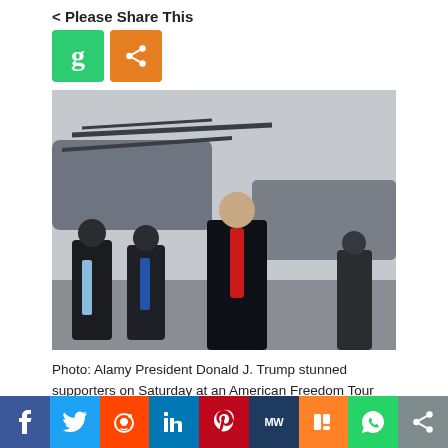< Please Share This
[Figure (photo): President Donald J. Trump walking in front of a military helicopter, wearing a dark suit with a red tie. Several men in black masks walk behind him.]
Photo: Alamy President Donald J. Trump stunned supporters on Saturday at an American Freedom Tour event by revealing that he was working on a writing a
f  Twitter  Reddit  in  Pinterest  MW  Mix  WhatsApp  Share